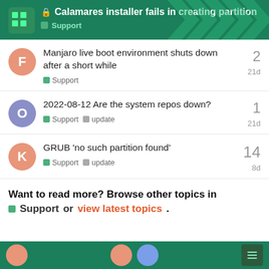🔒 Calamares installer fails in creating partition — Support
Manjaro live boot environment shuts down after a short while — Support — 2 replies — 21d
2022-08-12 Are the system repos down? — Support, update — 1 reply — 21d
GRUB 'no such partition found' — Support, update — 14 replies — 8d
Want to read more? Browse other topics in Support or view latest topics.